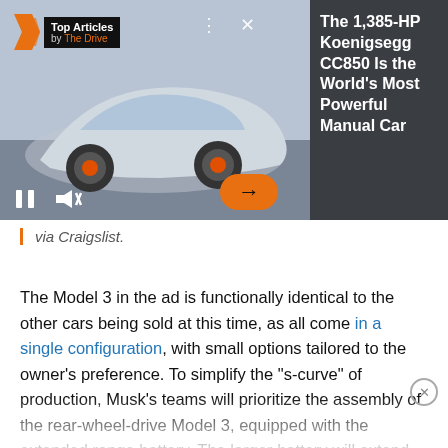[Figure (screenshot): Advertisement overlay showing a silver Koenigsegg sports car with Top Articles badge by The Drive, playback controls, orange arrow button, and a dark right panel with article title]
The 1,385-HP Koenigsegg CC850 Is the World's Most Powerful Manual Car
via Craigslist.
The Model 3 in the ad is functionally identical to the other cars being sold at this time, as all come in a single configuration, with small options tailored to the owner's preference. To simplify the "s-curve" of production, Musk's teams will prioritize the assembly of the rear-wheel-drive Model 3, equipped with the extended range battery. The larger battery will extend the Model 3's range from 220 miles to 310 miles, offering the equivalent of 126 MPG